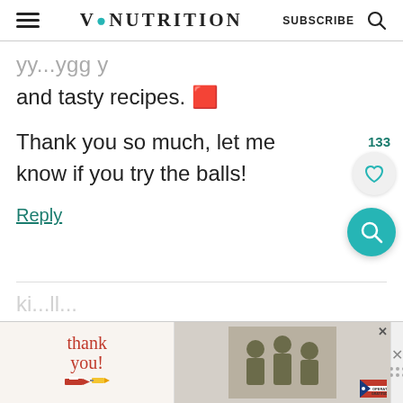VINUTRITION | SUBSCRIBE
and tasty recipes. 🍳
Thank you so much, let me know if you try the balls!
Reply
[Figure (screenshot): Advertisement banner at the bottom showing 'Thank you' script text with US flag decoration, soldiers image, Operation Gratitude logo, and close buttons]
133